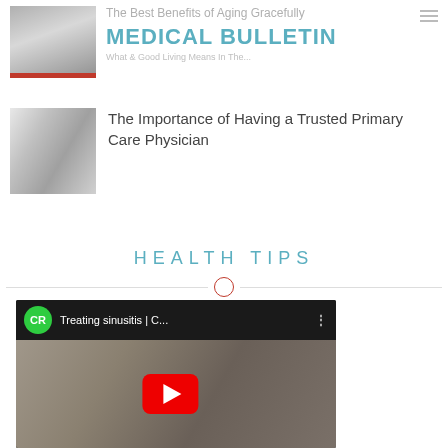The Best Benefits of Aging Gracefully
MEDICAL BULLETIN
[Figure (photo): Thumbnail image for Medical Bulletin article about aging gracefully]
[Figure (photo): Photo of a doctor consulting with a patient at a desk]
The Importance of Having a Trusted Primary Care Physician
HEALTH TIPS
[Figure (screenshot): YouTube video thumbnail: Treating sinusitis | C... with CR (Consumer Reports) logo and red play button, showing a person holding their head/sinuses]